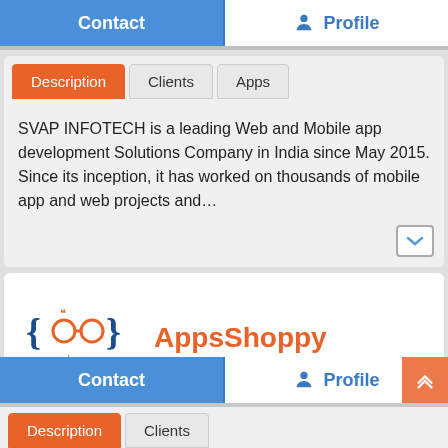Contact  |  Profile
Description | Clients | Apps
SVAP INFOTECH is a leading Web and Mobile app development Solutions Company in India since May 2015. Since its inception, it has worked on thousands of mobile app and web projects and…
[Figure (logo): AppsShoppy logo with curly braces and glasses icon]
AppsShoppy
Contact | Profile
Description | Clients